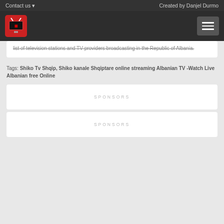Contact us   Created by Danjel Durmo
list of television stations and TV providers broadcasting in the Republic of Albania.
Tags: Shiko Tv Shqip, Shiko kanale Shqiptare online streaming Albanian TV -Watch Live Albanian free Online
SPONSORS
SPONSORS